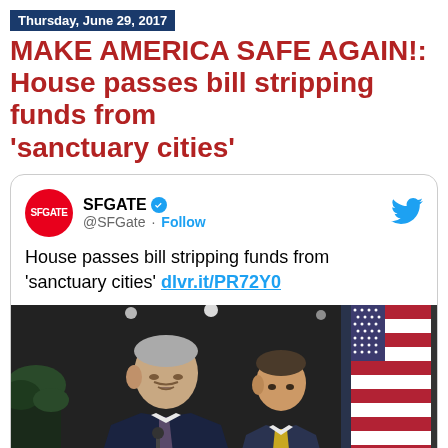Thursday, June 29, 2017
MAKE AMERICA SAFE AGAIN!: House passes bill stripping funds from 'sanctuary cities'
[Figure (screenshot): Tweet from @SFGate account with text: House passes bill stripping funds from 'sanctuary cities' dlvr.it/PR72Y0, followed by a press conference photo showing two men in suits at a podium with American flags in the background.]